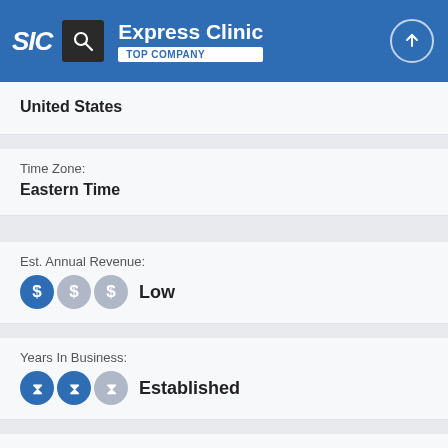SIC | Express Clinic | TOP COMPANY
United States
Time Zone:
Eastern Time
Est. Annual Revenue:
Low
Years In Business:
Established
Est. Company Size:
Small